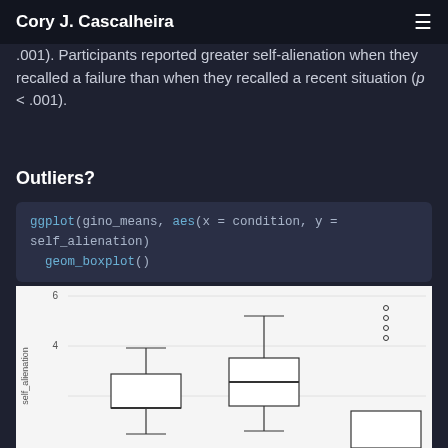Cory J. Cascalheira
.001). Participants reported greater self-alienation when they recalled a failure than when they recalled a recent situation (p < .001).
Outliers?
[Figure (other): Boxplot showing self_alienation by condition. Three box plots visible: first condition has median around 3.5, second condition has median around 4.5 with box from ~4 to ~5.5 and whisker extending up to ~6.5, third condition shows outlier dots near y=6 and partial box at bottom.]